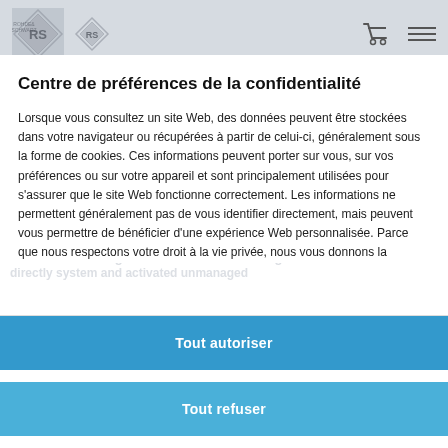Rohde & Schwarz logo header with cart and menu icons
Centre de préférences de la confidentialité
Lorsque vous consultez un site Web, des données peuvent être stockées dans votre navigateur ou récupérées à partir de celui-ci, généralement sous la forme de cookies. Ces informations peuvent porter sur vous, sur vos préférences ou sur votre appareil et sont principalement utilisées pour s'assurer que le site Web fonctionne correctement. Les informations ne permettent généralement pas de vous identifier directement, mais peuvent vous permettre de bénéficier d'une expérience Web personnalisée. Parce que nous respectons votre droit à la vie privée, nous vous donnons la
Tout autoriser
Tout refuser